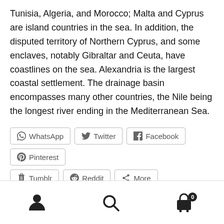Tunisia, Algeria, and Morocco; Malta and Cyprus are island countries in the sea. In addition, the disputed territory of Northern Cyprus, and some enclaves, notably Gibraltar and Ceuta, have coastlines on the sea. Alexandria is the largest coastal settlement. The drainage basin encompasses many other countries, the Nile being the longest river ending in the Mediterranean Sea.
[Figure (infographic): Social sharing buttons row 1: WhatsApp, Twitter, Facebook, Pinterest; row 2: Tumblr, Reddit, More]
Like this:
Loading...
[Figure (infographic): Bottom navigation bar with user/account icon, search icon, and shopping cart icon with badge showing 0]